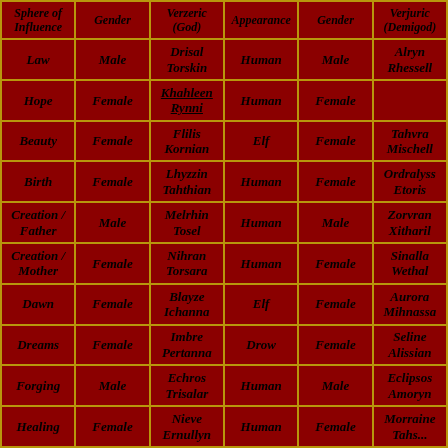| Sphere of Influence | Gender | Verzeric (God) | Appearance | Gender | Verjuric (Demigod) |
| --- | --- | --- | --- | --- | --- |
| Law | Male | Drisal Torskin | Human | Male | Alryn Rhessell |
| Hope | Female | Khahleen Rynni | Human | Female |  |
| Beauty | Female | Flilis Kornian | Elf | Female | Tahvra Mischell |
| Birth | Female | Lhyzzin Tahthian | Human | Female | Ordralyss Etoris |
| Creation / Father | Male | Melrhin Tosel | Human | Male | Zorvran Xitharil |
| Creation / Mother | Female | Nihran Torsara | Human | Female | Sinalla Wethal |
| Dawn | Female | Blayze Ichanna | Elf | Female | Aurora Mihnassa |
| Dreams | Female | Imbre Pertanna | Drow | Female | Seline Alissian |
| Forging | Male | Echros Trisalar | Human | Male | Eclipsos Amoryn |
| Healing | Female | Nieve Ernullyn | Human | Female | Morraine Tahts... |